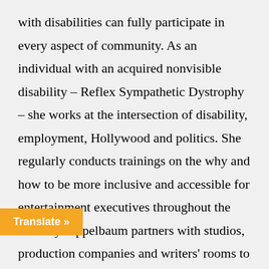with disabilities can fully participate in every aspect of community. As an individual with an acquired nonvisible disability – Reflex Sympathetic Dystrophy – she works at the intersection of disability, employment, Hollywood and politics. She regularly conducts trainings on the why and how to be more inclusive and accessible for entertainment executives throughout the industry. Appelbaum partners with studios, production companies and writers' rooms to create equitable and accessible opportunities to increase the number of people with lived disability experience throughout the storytelling process. These initiatives improve and authentic representation of